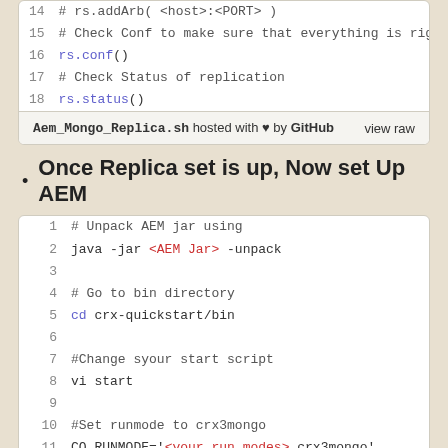[Figure (screenshot): Code block showing lines 14-18 of a shell script with rs.addArb, rs.conf(), rs.status() commands]
Aem_Mongo_Replica.sh hosted with ♥ by GitHub   view raw
Once Replica set is up, Now set Up AEM
[Figure (screenshot): Code block showing lines 1-12 of a shell script: Unpack AEM jar, java -jar <AEM Jar> -unpack, Go to bin directory, cd crx-quickstart/bin, Change start script, vi start, Set runmode to crx3mongo, CQ_RUNMODE='<your run modes>,crx3mongo']